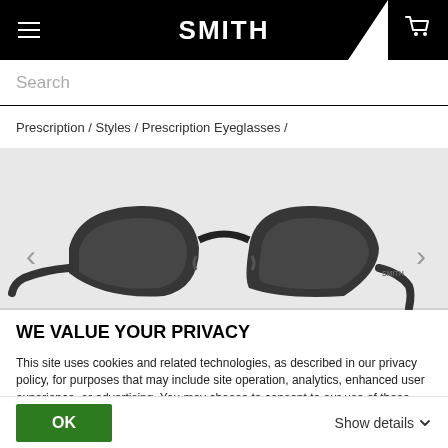SMITH
Search
Prescription / Styles / Prescription Eyeglasses /
[Figure (photo): Black prescription eyeglasses (Smith branded) shown at an angle against a light gray/white background with left and right carousel navigation arrows visible]
WE VALUE YOUR PRIVACY
This site uses cookies and related technologies, as described in our privacy policy, for purposes that may include site operation, analytics, enhanced user experience, or advertising. You may choose to consent to our use of these technologies or manage your own preferences.
OK    Show details